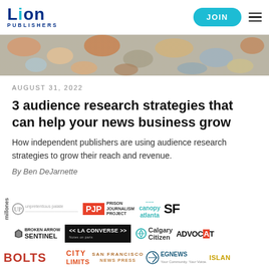Lion Publishers | JOIN
[Figure (photo): Colorful jigsaw puzzle pieces scattered, serving as hero image]
AUGUST 31, 2022
3 audience research strategies that can help your news business grow
How independent publishers are using audience research strategies to grow their reach and revenue.
By Ben DeJarnette
[Figure (logo): Strip of publisher logos including: millones, Unpretentious Palate, PJP Prison Journalism Project, Canopy Atlanta, SF, Broken Arrow Sentinel, LA Converse, Calgary Citizen, ADVOCAT, BOLTS, CITY LIMITS, San Francisco News Press, EGNews, ISLAN]